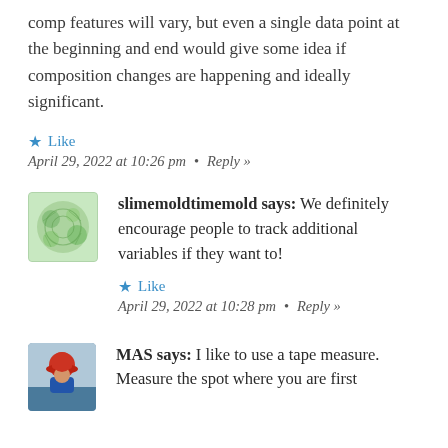comp features will vary, but even a single data point at the beginning and end would give some idea if composition changes are happening and ideally significant.
★ Like
April 29, 2022 at 10:26 pm  •  Reply »
slimemoldtimemold says: We definitely encourage people to track additional variables if they want to!
★ Like
April 29, 2022 at 10:28 pm  •  Reply »
MAS says: I like to use a tape measure. Measure the spot where you are first